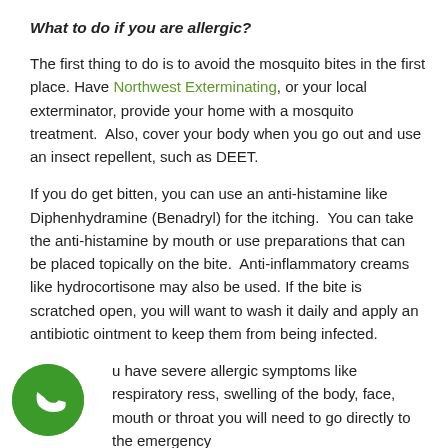What to do if you are allergic?
The first thing to do is to avoid the mosquito bites in the first place. Have Northwest Exterminating, or your local exterminator, provide your home with a mosquito treatment.  Also, cover your body when you go out and use an insect repellent, such as DEET.
If you do get bitten, you can use an anti-histamine like Diphenhydramine (Benadryl) for the itching.  You can take the anti-histamine by mouth or use preparations that can be placed topically on the bite.  Anti-inflammatory creams like hydrocortisone may also be used. If the bite is scratched open, you will want to wash it daily and apply an antibiotic ointment to keep them from being infected.
...u have severe allergic symptoms like respiratory ...ress, swelling of the body, face, mouth or throat you will need to go directly to the emergency
[Figure (illustration): Green circular phone call icon with white telephone handset symbol, positioned at bottom left of page]